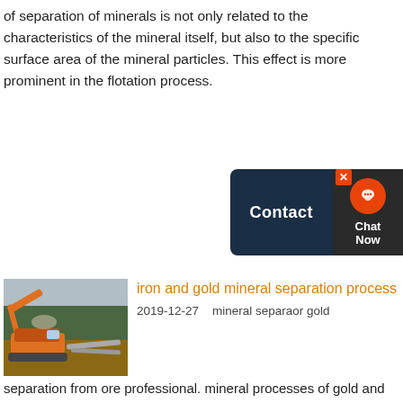of separation of minerals is not only related to the characteristics of the mineral itself, but also to the specific surface area of the mineral particles. This effect is more prominent in the flotation process.
[Figure (screenshot): Contact/Chat Now widget overlay with dark navy background showing 'Contact' button and red chat icon]
[Figure (photo): Outdoor mining site with orange excavator machinery and conveyor systems in a forested area]
iron and gold mineral separation process
2019-12-27   mineral separaor gold separation from ore professional. mineral processes of gold and iron offers 6870 gold processing plant products About 50 of these are mineral separator 12 are other mining machines and 3 are crusher Iran Copper Ore Iron